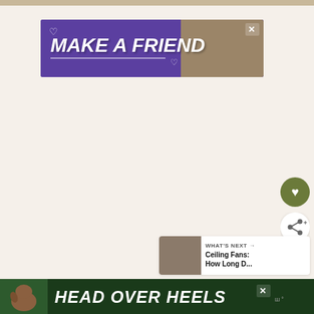[Figure (illustration): Purple banner advertisement with white bold italic text 'MAKE A FRIEND', a dog photo on the right, heart icons, and an X close button]
[Figure (illustration): Olive green circular heart/favorite button icon on the right side]
[Figure (illustration): White circular share button with share icon on the right side]
[Figure (illustration): What's Next panel showing a thumbnail and text 'WHAT'S NEXT → Ceiling Fans: How Long D...']
[Figure (illustration): Dark green bottom banner ad with dog photo and bold white italic text 'HEAD OVER HEELS', X close button, and logo]